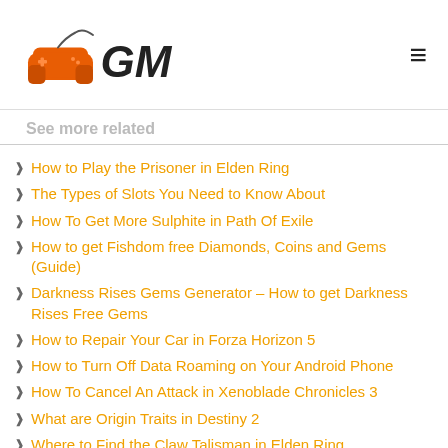GM logo and navigation
See more related
How to Play the Prisoner in Elden Ring
The Types of Slots You Need to Know About
How To Get More Sulphite in Path Of Exile
How to get Fishdom free Diamonds, Coins and Gems (Guide)
Darkness Rises Gems Generator – How to get Darkness Rises Free Gems
How to Repair Your Car in Forza Horizon 5
How to Turn Off Data Roaming on Your Android Phone
How To Cancel An Attack in Xenoblade Chronicles 3
What are Origin Traits in Destiny 2
Where to Find the Claw Talisman in Elden Ring
How to Get Gems in Brawl Stars
What Are Eternals in League of Legends